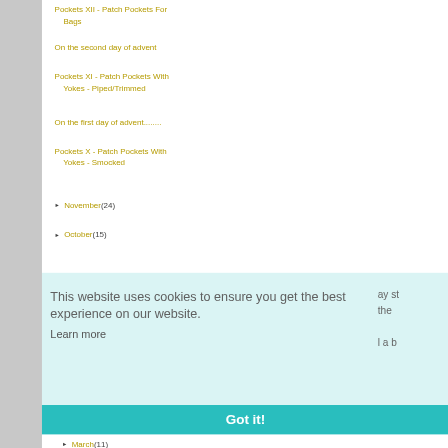Pockets XII - Patch Pockets For Bags
On the second day of advent
Pockets XI - Patch Pockets With Yokes - Piped/Trimmed
On the first day of advent........
Pockets X - Patch Pockets With Yokes - Smocked
November (24)
October (15)
This website uses cookies to ensure you get the best experience on our website.
Learn more
Got it!
March (11)